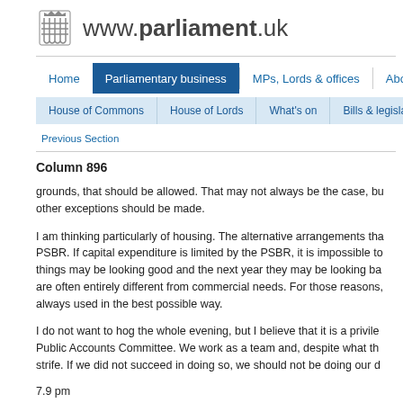www.parliament.uk
Home | Parliamentary business | MPs, Lords & offices | About
House of Commons | House of Lords | What's on | Bills & legislation
Previous Section
Column 896
grounds, that should be allowed. That may not always be the case, but no other exceptions should be made.
I am thinking particularly of housing. The alternative arrangements that PSBR. If capital expenditure is limited by the PSBR, it is impossible to things may be looking good and the next year they may be looking back are often entirely different from commercial needs. For those reasons, always used in the best possible way.
I do not want to hog the whole evening, but I believe that it is a privilege Public Accounts Committee. We work as a team and, despite what the strife. If we did not succeed in doing so, we should not be doing our du
7.9 pm
Mr. D. N. Campbell-Savours (Workington) : I was interested by the s which I discussed with my right hon. Friend the Member for Ashton-u